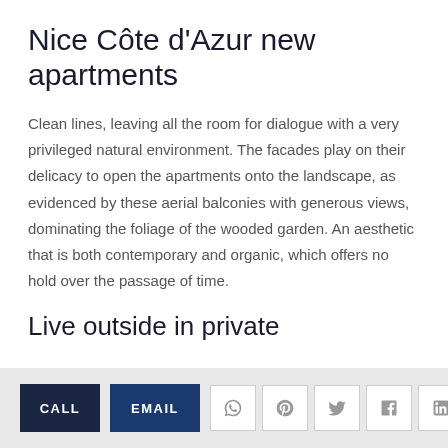Nice Côte d'Azur new apartments
Clean lines, leaving all the room for dialogue with a very privileged natural environment. The facades play on their delicacy to open the apartments onto the landscape, as evidenced by these aerial balconies with generous views, dominating the foliage of the wooded garden. An aesthetic that is both contemporary and organic, which offers no hold over the passage of time.
Live outside in private
CALL  EMAIL  [social icons: WhatsApp, Pinterest, Twitter, Facebook, LinkedIn]